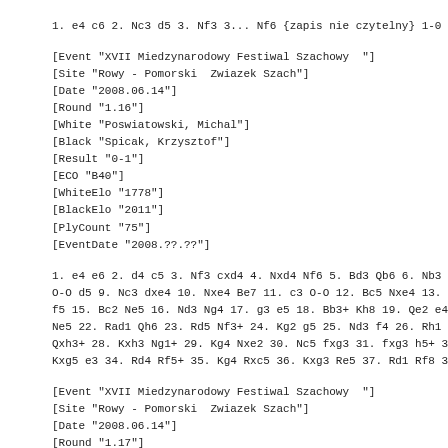1. e4 c6 2. Nc3 d5 3. Nf3 3... Nf6 {zapis nie czytelny} 1-0
[Event "XVII Miedzynarodowy Festiwal Szachowy  "]
[Site "Rowy - Pomorski  Zwiazek Szach"]
[Date "2008.06.14"]
[Round "1.16"]
[White "Poswiatowski, Michal"]
[Black "Spicak, Krzysztof"]
[Result "0-1"]
[ECO "B40"]
[WhiteElo "1778"]
[BlackElo "2011"]
[PlyCount "75"]
[EventDate "2008.??.??"]
1. e4 e6 2. d4 c5 3. Nf3 cxd4 4. Nxd4 Nf6 5. Bd3 Qb6 6. Nb3 Nc
O-O d5 9. Nc3 dxe4 10. Nxe4 Be7 11. c3 O-O 12. Bc5 Nxe4 13. Bx
f5 15. Bc2 Ne5 16. Nd3 Ng4 17. g3 e5 18. Bb3+ Kh8 19. Qe2 e4 2
Ne5 22. Rad1 Qh6 23. Rd5 Nf3+ 24. Kg2 g5 25. Nd3 f4 26. Rh1 Bx
Qxh3+ 28. Kxh3 Ng1+ 29. Kg4 Nxe2 30. Nc5 fxg3 31. fxg3 h5+ 32.
Kxg5 e3 34. Rd4 Rf5+ 35. Kg4 Rxc5 36. Kxg3 Re5 37. Rd1 Rf8 38.
[Event "XVII Miedzynarodowy Festiwal Szachowy  "]
[Site "Rowy - Pomorski  Zwiazek Szach"]
[Date "2008.06.14"]
[Round "1.17"]
[White "Semeniuk, Adam"]
[Black "Zatylny, Jan"]
[Result "1-0"]
[ECO "A36"]
[WhiteElo "1999"]